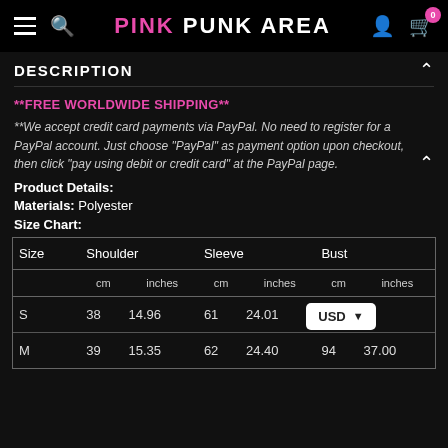PINK PUNK AREA
DESCRIPTION
**FREE WORLDWIDE SHIPPING**
**We accept credit card payments via PayPal. No need to register for a PayPal account. Just choose "PayPal" as payment option upon checkout, then click "pay using debit or credit card" at the PayPal page.
Product Details:
Materials: Polyester
Size Chart:
| Size | Shoulder cm | Shoulder inches | Sleeve cm | Sleeve inches | Bust cm | Bust inches |
| --- | --- | --- | --- | --- | --- | --- |
| S | 38 | 14.96 | 61 | 24.01 | 90 |  |
| M | 39 | 15.35 | 62 | 24.40 | 94 | 37.00 |